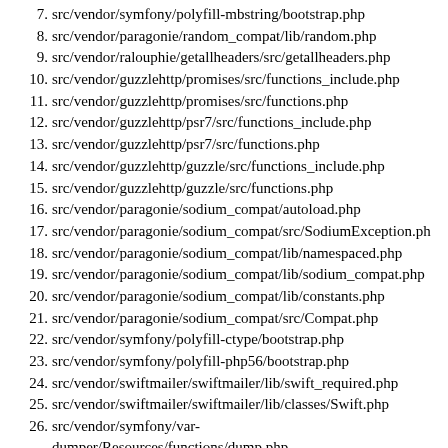7. src/vendor/symfony/polyfill-mbstring/bootstrap.php
8. src/vendor/paragonie/random_compat/lib/random.php
9. src/vendor/ralouphie/getallheaders/src/getallheaders.php
10. src/vendor/guzzlehttp/promises/src/functions_include.php
11. src/vendor/guzzlehttp/promises/src/functions.php
12. src/vendor/guzzlehttp/psr7/src/functions_include.php
13. src/vendor/guzzlehttp/psr7/src/functions.php
14. src/vendor/guzzlehttp/guzzle/src/functions_include.php
15. src/vendor/guzzlehttp/guzzle/src/functions.php
16. src/vendor/paragonie/sodium_compat/autoload.php
17. src/vendor/paragonie/sodium_compat/src/SodiumException.php
18. src/vendor/paragonie/sodium_compat/lib/namespaced.php
19. src/vendor/paragonie/sodium_compat/lib/sodium_compat.php
20. src/vendor/paragonie/sodium_compat/lib/constants.php
21. src/vendor/paragonie/sodium_compat/src/Compat.php
22. src/vendor/symfony/polyfill-ctype/bootstrap.php
23. src/vendor/symfony/polyfill-php56/bootstrap.php
24. src/vendor/swiftmailer/swiftmailer/lib/swift_required.php
25. src/vendor/swiftmailer/swiftmailer/lib/classes/Swift.php
26. src/vendor/symfony/var-dumper/Resources/functions/dump.php
27. src/vendor/dokuwiki/utf8/utf8.php
28. src/XF/Http/Request.php
29. src/XF/InputFilterer.php
30. src/XF/Pub/App.php